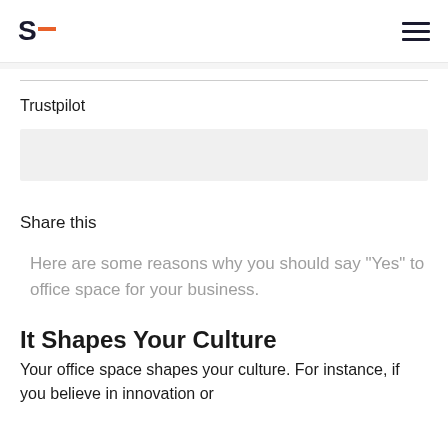S_ [logo] [hamburger menu]
Trustpilot
[Figure (other): Trustpilot widget placeholder (light grey rectangle)]
Share this
Here are some reasons why you should say "Yes" to office space for your business.
It Shapes Your Culture
Your office space shapes your culture. For instance, if you believe in innovation or